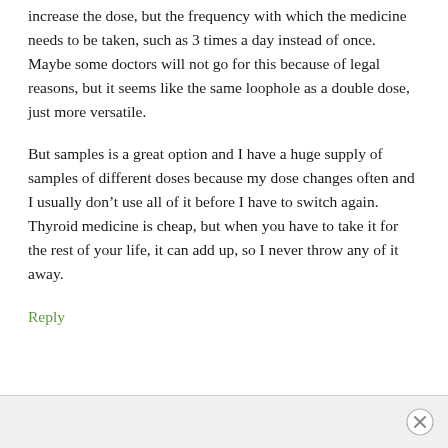increase the dose, but the frequency with which the medicine needs to be taken, such as 3 times a day instead of once. Maybe some doctors will not go for this because of legal reasons, but it seems like the same loophole as a double dose, just more versatile.
But samples is a great option and I have a huge supply of samples of different doses because my dose changes often and I usually don't use all of it before I have to switch again. Thyroid medicine is cheap, but when you have to take it for the rest of your life, it can add up, so I never throw any of it away.
Reply